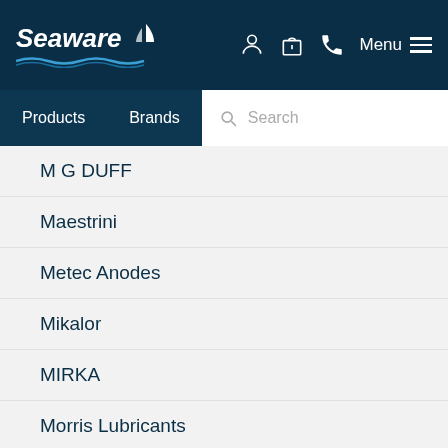[Figure (logo): Seaware logo with wave graphic, white text on dark navy background]
Products  Brands  Search
M G DUFF
Maestrini
Metec Anodes
Mikalor
MIRKA
Morris Lubricants
Multiflex - Built To Last
OCEANFLEX
Ocean Safety